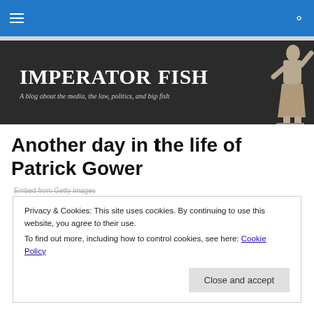Imperator Fish — navigation bar with hamburger menu and search icon
[Figure (illustration): Imperator Fish blog banner with dark background, large white serif title 'IMPERATOR FISH', subtitle 'A blog about the media, the law, politics, and big fish', and a Roman statue on the right side]
Another day in the life of Patrick Gower
Embed from Getty Images
Privacy & Cookies: This site uses cookies. By continuing to use this website, you agree to their use.
To find out more, including how to control cookies, see here: Cookie Policy
[Close and accept]